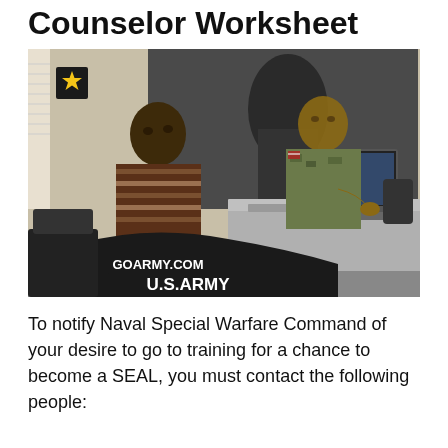Counselor Worksheet
[Figure (photo): A U.S. Army recruiter in camouflage uniform sitting at a desk with a laptop, consulting with a young civilian man. A U.S. Army branded jacket with 'GOARMY.COM' text is visible in the foreground. An Army star logo poster is visible on the wall in the background.]
To notify Naval Special Warfare Command of your desire to go to training for a chance to become a SEAL, you must contact the following people: